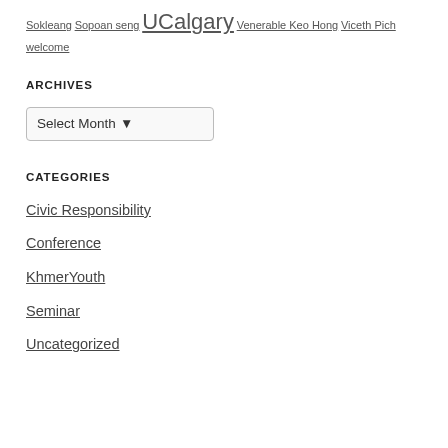Sokleang  Sopoan seng  UCalgary  Venerable Keo Hong  Viceth Pich  welcome
ARCHIVES
[Figure (other): A dropdown/select input labeled 'Select Month' with a down-arrow chevron]
CATEGORIES
Civic Responsibility
Conference
KhmerYouth
Seminar
Uncategorized